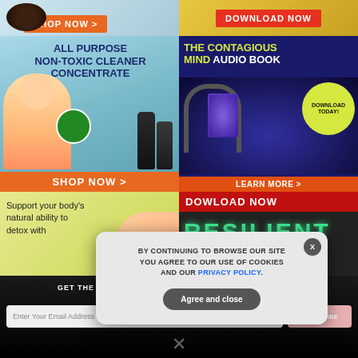[Figure (screenshot): Top-left ad banner: partial view with SHOP NOW button on orange background]
[Figure (screenshot): Top-right ad banner: DOWNLOAD NOW button on yellow/gold background]
[Figure (screenshot): ALL PURPOSE NON-TOXIC CLEANER CONCENTRATE ad with woman and product bottles, SHOP NOW button]
[Figure (screenshot): THE CONTAGIOUS MIND AUDIO BOOK ad with DOWNLOAD TODAY! circle and LEARN MORE button]
[Figure (screenshot): Support your body's natural ability to detox with - partial green/yellow ad]
[Figure (screenshot): DOWLOAD NOW RESILIENT ad on dark background with red header]
GET THE WORLD'S BEST NATURAL HEALTH NEWSLETTER DELIVERED STRAIGHT TO YOUR INBOX
Enter Your Email Address
SUBSCRIBE
BY CONTINUING TO BROWSE OUR SITE YOU AGREE TO OUR USE OF COOKIES AND OUR PRIVACY POLICY.
Agree and close